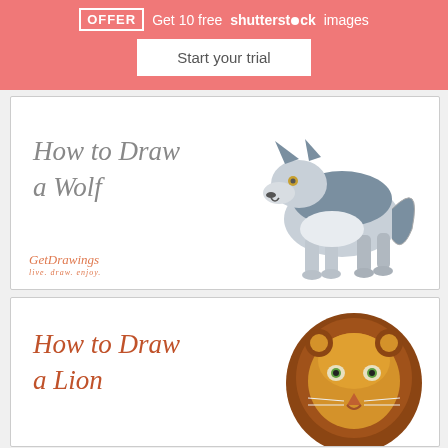OFFER  Get 10 free shutterstock images
Start your trial
[Figure (illustration): How to Draw a Wolf card with illustrated wolf in grey/blue tones and GetoDrawings logo]
[Figure (illustration): How to Draw a Lion card with illustrated lion head in brown/orange tones]